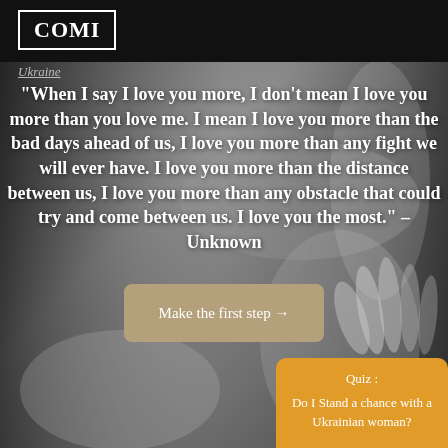[Figure (photo): Black and white photo of a couple embracing, woman's hand visible on man's back]
COMI
Ukraine
“When I say I love you more, I don’t mean I love you more than you love me. I mean I love you more than the bad days ahead of us, I love you more than any fight we will ever have. I love you more than the distance between us, I love you more than any obstacle that could try and come between us. I love you the most.” – Unknown
Make the first step →
Quiz :
Do I Stand a chance with a Ukrainian woman?